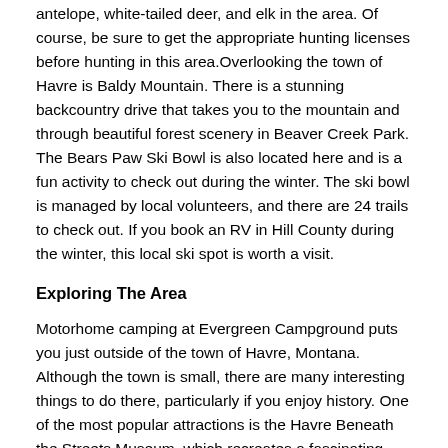antelope, white-tailed deer, and elk in the area. Of course, be sure to get the appropriate hunting licenses before hunting in this area. Overlooking the town of Havre is Baldy Mountain. There is a stunning backcountry drive that takes you to the mountain and through beautiful forest scenery in Beaver Creek Park. The Bears Paw Ski Bowl is also located here and is a fun activity to check out during the winter. The ski bowl is managed by local volunteers, and there are 24 trails to check out. If you book an RV in Hill County during the winter, this local ski spot is worth a visit.
Exploring The Area
Motorhome camping at Evergreen Campground puts you just outside of the town of Havre, Montana. Although the town is small, there are many interesting things to do there, particularly if you enjoy history. One of the most popular attractions is the Havre Beneath the Streets Museum, which recreates a fascinating time in the area's history. Over a